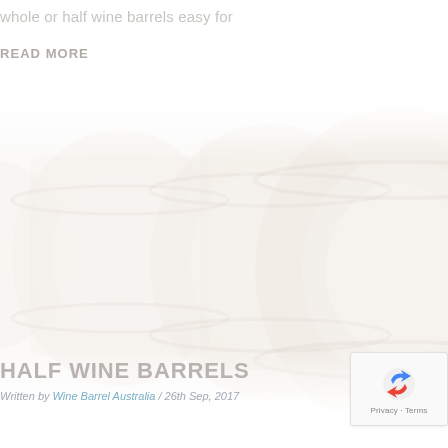whole or half wine barrels easy for
READ MORE
[Figure (photo): Faded/washed-out photo of multiple wine barrels lying on their sides, showing the circular ends of wooden barrels stacked together, very light and overexposed]
HALF WINE BARRELS
Written by Wine Barrel Australia / 26th Sep, 2017